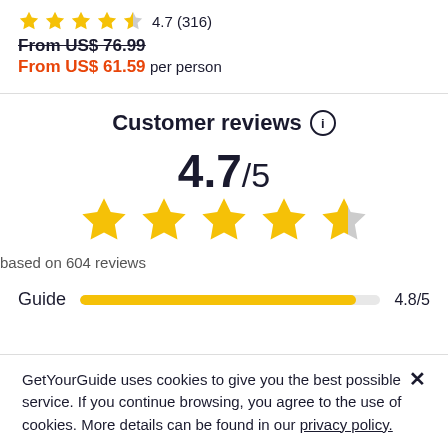★★★★½ 4.7 (316)
From US$ 76.99
From US$ 61.59 per person
Customer reviews ⓘ
4.7/5
[Figure (other): 4.7 out of 5 stars rating display with 5 large yellow stars (last one half-filled)]
based on 604 reviews
Guide  4.8/5
GetYourGuide uses cookies to give you the best possible service. If you continue browsing, you agree to the use of cookies. More details can be found in our privacy policy.